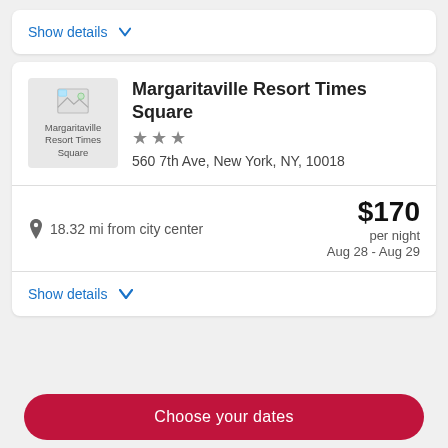Show details ∨
Margaritaville Resort Times Square
★★★
560 7th Ave, New York, NY, 10018
18.32 mi from city center
$170 per night Aug 28 - Aug 29
Show details ∨
Choose your dates